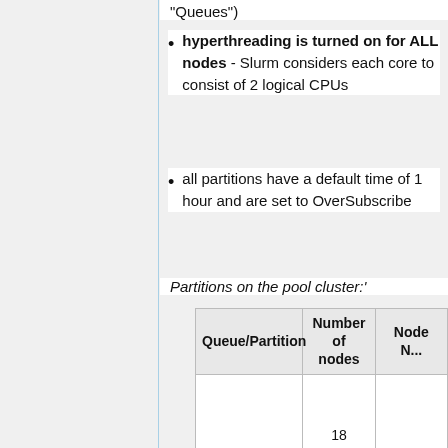"Queues")
hyperthreading is turned on for ALL nodes - Slurm considers each core to consist of 2 logical CPUs
all partitions have a default time of 1 hour and are set to OverSubscribe
Partitions on the pool cluster:'
| Queue/Partition | Number of nodes | Node N... |
| --- | --- | --- |
| common (default) | 18 | c00[17,19... 38,5... |